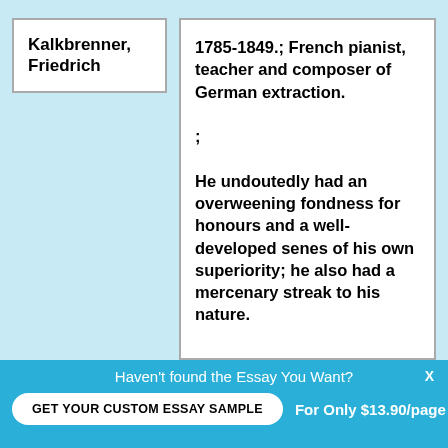Kalkbrenner, Friedrich
1785-1849.; French pianist, teacher and composer of German extraction.

;

He undoutedly had an overweening fondness for honours and a well-developed senes of his own superiority; he also had a mercenary streak to his nature.
Haven't found the Essay You Want?
GET YOUR CUSTOM ESSAY SAMPLE
For Only $13.90/page
X